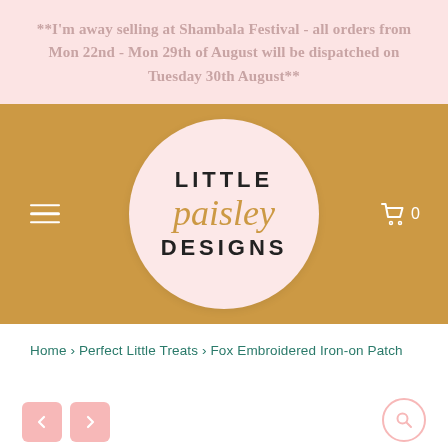**I'm away selling at Shambala Festival - all orders from Mon 22nd - Mon 29th of August will be dispatched on Tuesday 30th August**
[Figure (logo): Little Paisley Designs logo: circular pale pink badge on gold/mustard background with hamburger menu icon on left and cart icon with 0 on right. Logo text reads LITTLE (uppercase), paisley (italic script in gold), DESIGNS (uppercase).]
Home › Perfect Little Treats › Fox Embroidered Iron-on Patch